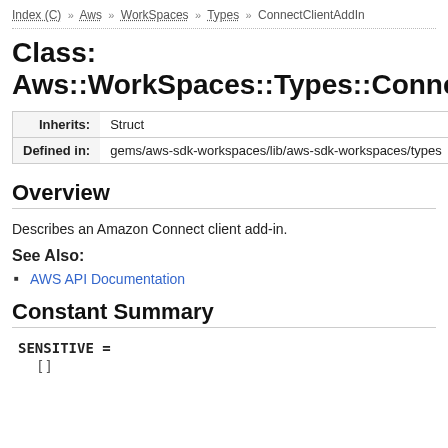Index (C) » Aws » WorkSpaces » Types » ConnectClientAddIn
Class: Aws::WorkSpaces::Types::ConnectClientAddIn
| Inherits: | Defined in: |
| --- | --- |
| Struct |
| gems/aws-sdk-workspaces/lib/aws-sdk-workspaces/types... |
Overview
Describes an Amazon Connect client add-in.
See Also:
AWS API Documentation
Constant Summary
SENSITIVE =
[]